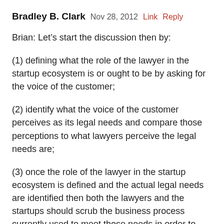Bradley B. Clark   Nov 28, 2012   Link   Reply
Brian: Let’s start the discussion then by:
(1) defining what the role of the lawyer in the startup ecosystem is or ought to be by asking for the voice of the customer;
(2) identify what the voice of the customer perceives as its legal needs and compare those perceptions to what lawyers perceive the legal needs are;
(3) once the role of the lawyer in the startup ecosystem is defined and the actual legal needs are identified then both the lawyers and the startups should scrub the business process currently used to meet those needs in order to produce an improved process which by